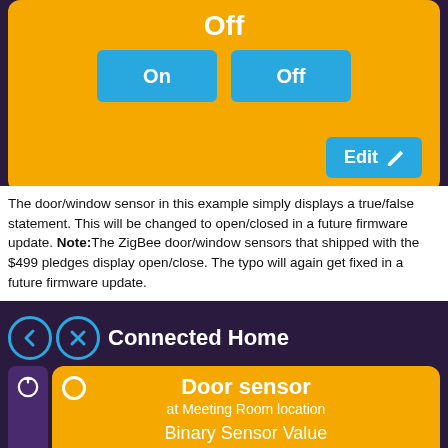[Figure (screenshot): Orange UI card showing On/Off buttons and Edit button on dark purple background]
The door/window sensor in this example simply displays a true/false statement. This will be changed to open/closed in a future firmware update. Note:The ZigBee door/window sensors that shipped with the $499 pledges display open/close. The typo will again get fixed in a future firmware update.
[Figure (screenshot): Connected Home app screen showing Door sensor at Meeting Room location with Binary Sensor Value: False]